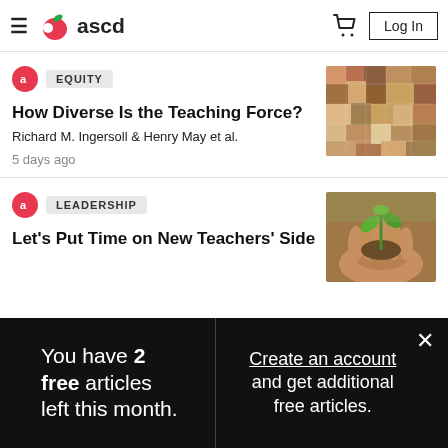ascd — Log In
EQUITY
How Diverse Is the Teaching Force?
Richard M. Ingersoll & Henry May et al.
5 days ago
[Figure (photo): Close-up of colorful leaf-shaped stones or fossils arranged together]
LEADERSHIP
Let's Put Time on New Teachers' Side
[Figure (photo): Hands holding a small green plant seedling in soil]
You have 2 free articles left this month.
Create an account and get additional free articles.